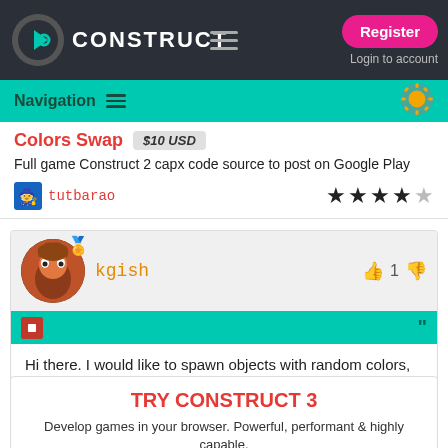CONSTRUCT — Register / Login to account
Navigation
Colors Swap $10 USD
Full game Construct 2 capx code source to post on Google Play
tutbarao ★★★★☆
kgish — thumbs up 1 thumbs down
Hi there. I would like to spawn objects with random colors, how do I do that?
TRY CONSTRUCT 3
Develop games in your browser. Powerful, performant & highly capable.
TRY NOW